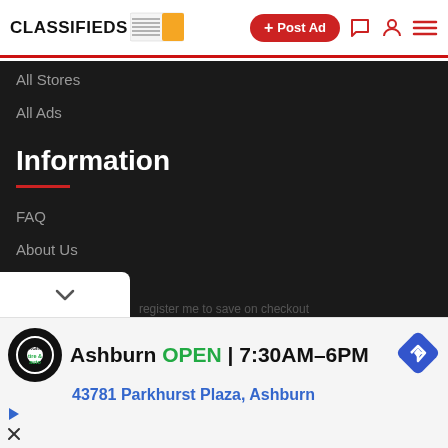CLASSIFIEDS
All Stores
All Ads
Information
FAQ
About Us
Privacy Policy
Ashburn OPEN | 7:30AM–6PM
43781 Parkhurst Plaza, Ashburn